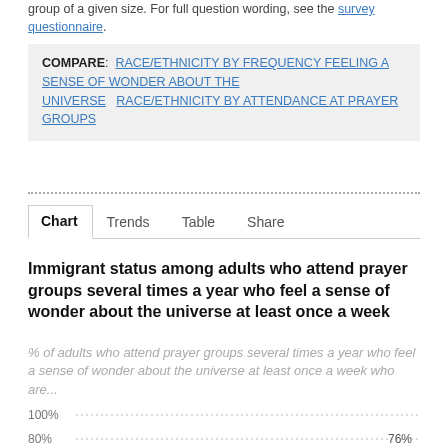group of a given size. For full question wording, see the survey questionnaire.
COMPARE: RACE/ETHNICITY BY FREQUENCY FEELING A SENSE OF WONDER ABOUT THE UNIVERSE  RACE/ETHNICITY BY ATTENDANCE AT PRAYER GROUPS
Chart  Trends  Table  Share
Immigrant status among adults who attend prayer groups several times a year who feel a sense of wonder about the universe at least once a week
% of adults who attend prayer groups several times a year who feel a sense of wonder about the universe at least once a week who are...
[Figure (bar-chart): Partial bar chart visible at bottom, showing 100% gridline and partial 80% gridline with 76% label]